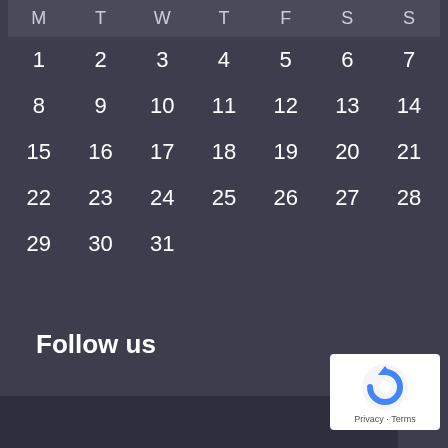| M | T | W | T | F | S | S |
| --- | --- | --- | --- | --- | --- | --- |
| 1 | 2 | 3 | 4 | 5 | 6 | 7 |
| 8 | 9 | 10 | 11 | 12 | 13 | 14 |
| 15 | 16 | 17 | 18 | 19 | 20 | 21 |
| 22 | 23 | 24 | 25 | 26 | 27 | 28 |
| 29 | 30 | 31 |  |  |  |  |
Follow us
[Figure (logo): reCAPTCHA logo with Privacy and Terms text]